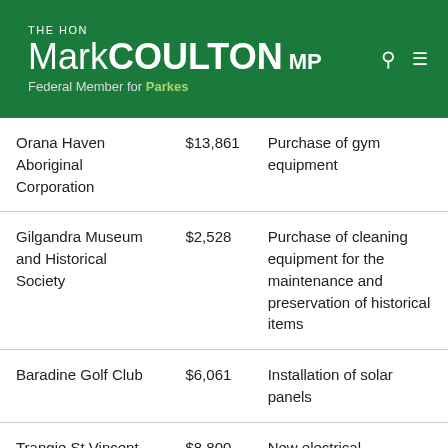THE HON Mark COULTON MP – Federal Member for Parkes
| Organisation | Amount | Purpose |
| --- | --- | --- |
| Orana Haven Aboriginal Corporation | $13,861 | Purchase of gym equipment |
| Gilgandra Museum and Historical Society | $2,528 | Purchase of cleaning equipment for the maintenance and preservation of historical items |
| Baradine Golf Club | $6,061 | Installation of solar panels |
| Trangie St Vincent | $8,800 | New electrical wiring at the Trangie |